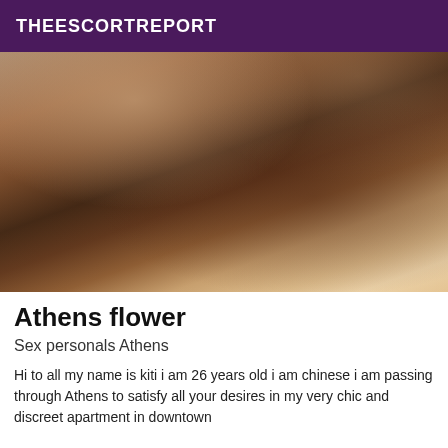THEESCORTREPORT
[Figure (photo): A young woman with long dark hair wearing black lingerie, photographed in a bedroom with Hello Kitty bedding and a TV/cage visible in background.]
Athens flower
Sex personals Athens
Hi to all my name is kiti i am 26 years old i am chinese i am passing through Athens to satisfy all your desires in my very chic and discreet apartment in downtown